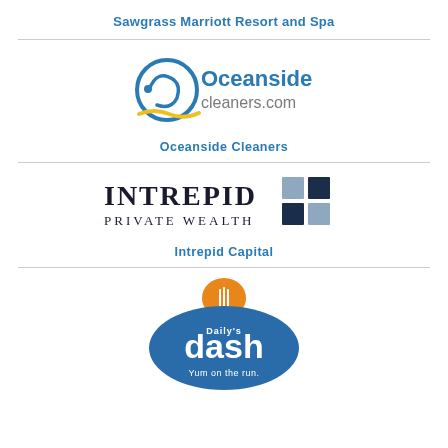Sawgrass Marriott Resort and Spa
[Figure (logo): Oceanside Cleaners logo with blue circular swirl, text 'Oceanside cleaners.com' in blue and grey]
Oceanside Cleaners
[Figure (logo): Intrepid Private Wealth logo with dark text and blue/grey square grid icon]
Intrepid Capital
[Figure (logo): Daily's Dash 'Yum on the run' logo with orange chef hat and blue badge text]